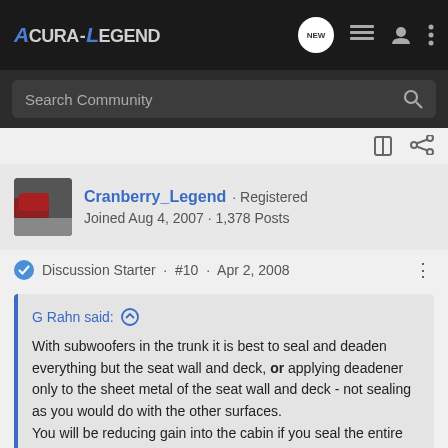Acura-Legend · NEW · navigation icons
Search Community
Cranberry_Legend · Registered
Joined Aug 4, 2007 · 1,378 Posts
Discussion Starter · #10 · Apr 2, 2008
G Rahn said: ↑
With subwoofers in the trunk it is best to seal and deaden everything but the seat wall and deck, or applying deadener only to the sheet metal of the seat wall and deck - not sealing as you would do with the other surfaces.
You will be reducing gain into the cabin if you seal the entire trunk with deadener.